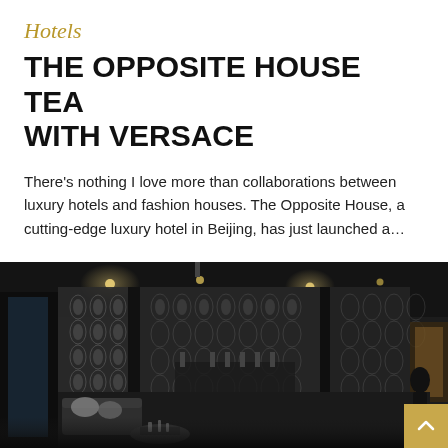Hotels
THE OPPOSITE HOUSE TEA WITH VERSACE
There's nothing I love more than collaborations between luxury hotels and fashion houses. The Opposite House, a cutting-edge luxury hotel in Beijing, has just launched a…
[Figure (photo): Interior of The Opposite House hotel bar/lounge in Beijing, featuring geometric black and white patterned walls, dark ceiling with recessed lighting, modern furniture including sofas with cushions, and a bar area in the background. A person is visible on the right side. The image is in black and white tones.]